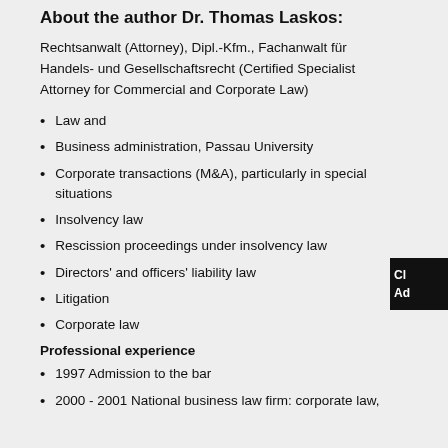About the author Dr. Thomas Laskos:
Rechtsanwalt (Attorney), Dipl.-Kfm., Fachanwalt für Handels- und Gesellschaftsrecht (Certified Specialist Attorney for Commercial and Corporate Law)
Law and
Business administration, Passau University
Corporate transactions (M&A), particularly in special situations
Insolvency law
Rescission proceedings under insolvency law
Directors' and officers' liability law
Litigation
Corporate law
Professional experience
1997 Admission to the bar
2000 - 2001 National business law firm: corporate law, mergers & acquisitions